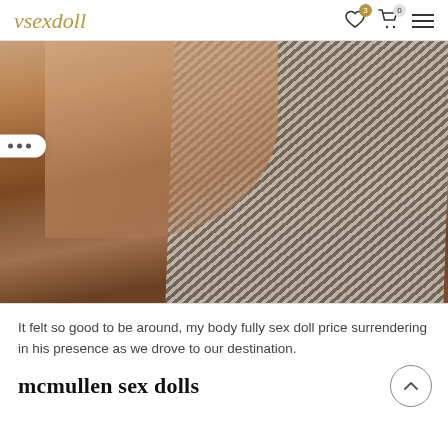vsexdoll
[Figure (photo): A photo showing a figure with blonde hair and skin-toned arms resting on a striped fabric surface over a wooden floor.]
It felt so good to be around, my body fully sex doll price surrendering in his presence as we drove to our destination.
mcmullen sex dolls